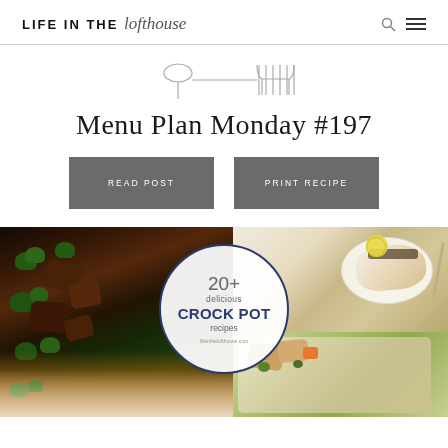LIFE IN THE lofthouse
[Figure (illustration): Fork and spoon icon/logo line drawing]
Menu Plan Monday #197
READ POST
PRINT RECIPE
[Figure (photo): Food collage showing beef and broccoli stir fry, baked fish with lemon, and other dishes, with a circular overlay reading '20+ delicious CROCK POT recipes lifeinthelifthouse.com']